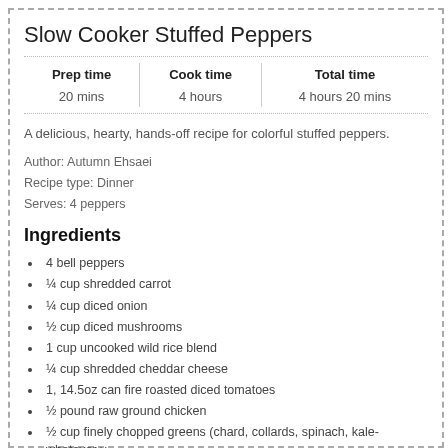Slow Cooker Stuffed Peppers
| Prep time | Cook time | Total time |
| --- | --- | --- |
| 20 mins | 4 hours | 4 hours 20 mins |
A delicious, hearty, hands-off recipe for colorful stuffed peppers.
Author: Autumn Ehsaei
Recipe type: Dinner
Serves: 4 peppers
Ingredients
4 bell peppers
¼ cup shredded carrot
¼ cup diced onion
½ cup diced mushrooms
1 cup uncooked wild rice blend
¼ cup shredded cheddar cheese
1, 14.5oz can fire roasted diced tomatoes
½ pound raw ground chicken
½ cup finely chopped greens (chard, collards, spinach, kale- whatever y…
¼ tsp turmeric
¼ tsp cumin
¼ tsp cayenne
½ tsp garlic powder
½ tsp onion powder
¼ tsp black pepper